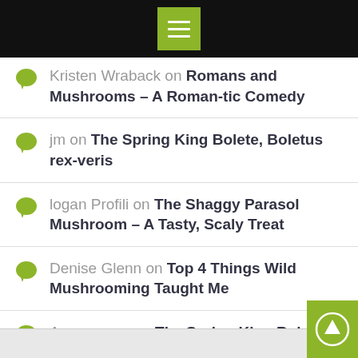Menu button (hamburger icon) on black top bar
Kristen Wraback on Romans and Mushrooms – A Roman-tic Comedy
jm on The Spring King Bolete, Boletus rex-veris
logan Profili on The Shaggy Parasol Mushroom – A Tasty, Scaly Treat
Denise Glenn on Top 4 Things Wild Mushrooming Taught Me
Anonymous on The Spring King Bolete, Boletus rex-veris